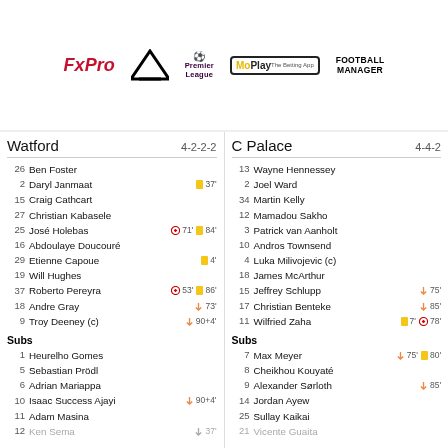[Figure (logo): Sponsor logos: FxPro, Adidas, Premier League, MoPlay, Football Manager]
| Watford | 4-2-2-2 |
| --- | --- |
| 26 | Ben Foster |  |
| 2 | Daryl Janmaat | 🟨 37' |
| 15 | Craig Cathcart |  |
| 27 | Christian Kabasele |  |
| 25 | José Holebas | ⚽ 71' 🟨 84' |
| 16 | Abdoulaye Doucouré |  |
| 29 | Etienne Capoue | 🟨 4' |
| 19 | Will Hughes |  |
| 37 | Roberto Pereyra | ⚽ 53' 🟨 86' |
| 18 | Andre Gray | 🔄 73' |
| 9 | Troy Deeney (c) | 🔄 90+4' |
| C Palace | 4-4-2 |
| --- | --- |
| 13 | Wayne Hennessey |  |
| 2 | Joel Ward |  |
| 34 | Martin Kelly |  |
| 12 | Mamadou Sakho |  |
| 3 | Patrick van Aanholt |  |
| 10 | Andros Townsend |  |
| 4 | Luka Milivojevic (c) |  |
| 18 | James McArthur |  |
| 15 | Jeffrey Schlupp | 🔄 75' |
| 17 | Christian Benteke | 🔄 85' |
| 11 | Wilfried Zaha | 🟨 7' ⚽ 78' |
Subs (Watford): 1 Heurelho Gomes, 5 Sebastian Prödl, 6 Adrian Mariappa, 10 Isaac Success Ajayi 🔄 90+4', 11 Adam Masina, 12 Ken Sema 🔄 37'
Subs (C Palace): 7 Max Meyer 🔄 75' 🟨 80', 8 Cheikhou Kouyaté, 9 Alexander Sørloth 🔄 85', 14 Jordan Ayew, 25 Sullay Kaikai, 21 Vicente Guaita